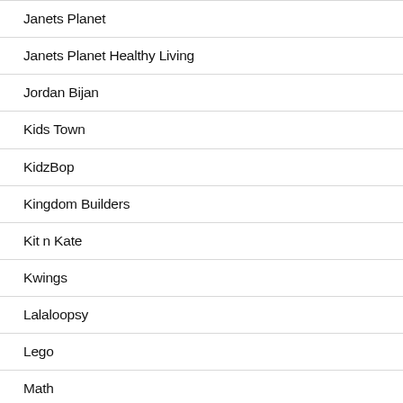Janets Planet
Janets Planet Healthy Living
Jordan Bijan
Kids Town
KidzBop
Kingdom Builders
Kit n Kate
Kwings
Lalaloopsy
Lego
Math
Minecraft Fairytales
Minecraft Tutorials Survive and Thrive